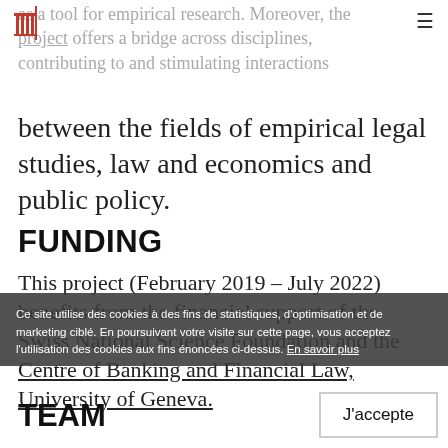[University logo] [hamburger menu]
as a tool for empirical research. Moreover, the project offers a bridge across disciplines, contributing to and stimulating interactions between the fields of empirical legal studies, law and economics and public policy.
FUNDING
This project (February 2019 – July 2022) benefits from the financial support of the Swiss National Science Foundation and the Centre of Banking and Financial Law, University of Geneva.
Ce site utilise des cookies à des fins de statistiques, d'optimisation et de marketing ciblé. En poursuivant votre visite sur cette page, vous acceptez l'utilisation des cookies aux fins énoncées ci-dessus. En savoir plus
TEAM